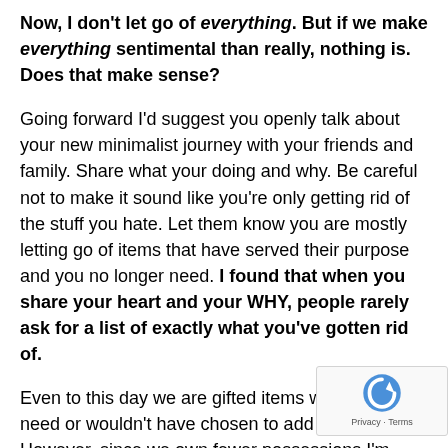Now, I don't let go of everything. But if we make everything sentimental than really, nothing is. Does that make sense?
Going forward I'd suggest you openly talk about your new minimalist journey with your friends and family. Share what your doing and why. Be careful not to make it sound like you're only getting rid of the stuff you hate. Let them know you are mostly letting go of items that have served their purpose and you no longer need. I found that when you share your heart and your WHY, people rarely ask for a list of exactly what you've gotten rid of.
Even to this day we are gifted items we either don't need or wouldn't have chosen to add to our home. However, since we own fewer possessions I'm able to make a mental note of the gift and put a timeline on how long it's allowed to stay. varies from one month to six. We try to make sure we aren't disrespectful or ungrateful to the gift giver, but